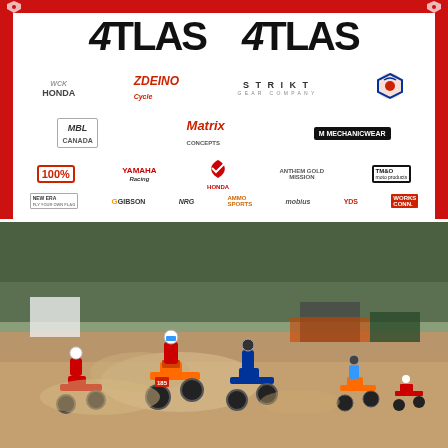[Figure (logo): Sponsor banner with multiple motorsport/motocross brand logos including ATLAS (x2), WCK Honda, Zdeino, Strikt Gear Company, MBL Canada, Matrix Concepts, MechanicWear, 100%, Yamaha Racing, Honda, Anthem Gold Mission, TM&O Moto Products, New Era, Gibson, NRG, Ammo Sports, Mobius, YDS, Works Connection]
[Figure (photo): Motocross race photo showing multiple dirt bike riders racing on a dirt track, with trees and vehicles in background, dusty conditions]